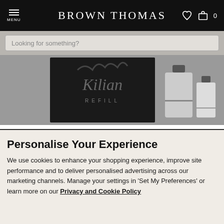MENU | BROWN THOMAS | ♥ 🛍 0
[Figure (screenshot): Search bar with placeholder text 'Looking for something?' on a grey background]
[Figure (photo): Kilian Refill product — dark box with Kilian script logo and REFILL text, alongside two fragrance bottles on a grey background]
Personalise Your Experience
We use cookies to enhance your shopping experience, improve site performance and to deliver personalised advertising across our marketing channels. Manage your settings in 'Set My Preferences' or learn more on our Privacy and Cookie Policy